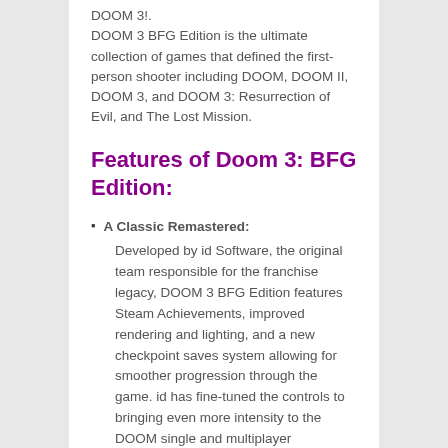DOOM 3!.
DOOM 3 BFG Edition is the ultimate collection of games that defined the first-person shooter including DOOM, DOOM II, DOOM 3, and DOOM 3: Resurrection of Evil, and The Lost Mission.
Features of Doom 3: BFG Edition:
A Classic Remastered: Developed by id Software, the original team responsible for the franchise legacy, DOOM 3 BFG Edition features Steam Achievements, improved rendering and lighting, and a new checkpoint saves system allowing for smoother progression through the game. id has fine-tuned the controls to bringing even more intensity to the DOOM single and multiplayer experience and all DOOM 3 games now feature the new armor-mounted flashlight, allowing players to illuminate dark corners and blast enemies at the